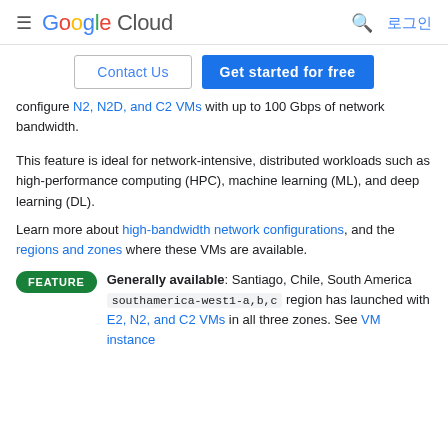Google Cloud  [search] 로그인
Contact Us   Get started for free
configure N2, N2D, and C2 VMs with up to 100 Gbps of network bandwidth.
This feature is ideal for network-intensive, distributed workloads such as high-performance computing (HPC), machine learning (ML), and deep learning (DL).
Learn more about high-bandwidth network configurations, and the regions and zones where these VMs are available.
FEATURE  Generally available: Santiago, Chile, South America southamerica-west1-a,b,c region has launched with E2, N2, and C2 VMs in all three zones. See VM instance...